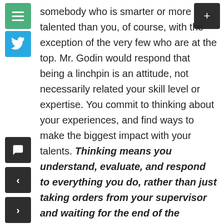somebody who is smarter or more talented than you, of course, with the exception of the very few who are at the top. Mr. Godin would respond that being a linchpin is an attitude, not necessarily related your skill level or expertise. You commit to thinking about your experiences, and find ways to make the biggest impact with your talents. Thinking means you understand, evaluate, and respond to everything you do, rather than just taking orders from your supervisor and waiting for the end of the workday. Worrying about who might replace you is self-defeating and will paralyze you, so concentrate on delivering your gift.
I think Mr. Godin does not address the